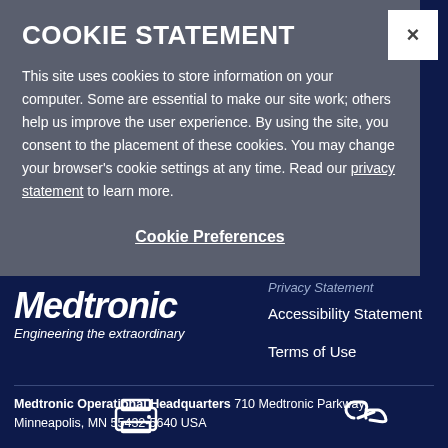COOKIE STATEMENT
This site uses cookies to store information on your computer. Some are essential to make our site work; others help us improve the user experience. By using the site, you consent to the placement of these cookies. You may change your browser's cookie settings at any time. Read our privacy statement to learn more.
Cookie Preferences
[Figure (logo): Medtronic logo in italic white font]
Engineering the extraordinary
Privacy Statement
Accessibility Statement
Terms of Use
Medtronic Operational Headquarters 710 Medtronic Parkway Minneapolis, MN 55432-5640 USA
[Figure (illustration): Print icon (printer symbol)]
[Figure (illustration): Link/chain icon]